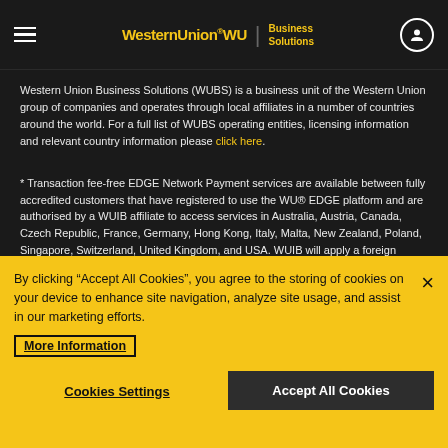Western Union WU | Business Solutions
Western Union Business Solutions (WUBS) is a business unit of the Western Union group of companies and operates through local affiliates in a number of countries around the world. For a full list of WUBS operating entities, licensing information and relevant country information please click here.
* Transaction fee-free EDGE Network Payment services are available between fully accredited customers that have registered to use the WU® EDGE platform and are authorised by a WUIB affiliate to access services in Australia, Austria, Canada, Czech Republic, France, Germany, Hong Kong, Italy, Malta, New Zealand, Poland, Singapore, Switzerland, United Kingdom, and USA. WUIB will apply a foreign currency exchange rate, which includes a margin set by WUIB, whenever a transaction includes a currency conversion.
By clicking “Accept All Cookies”, you agree to the storing of cookies on your device to enhance site navigation, analyze site usage, and assist in our marketing efforts.
More Information
Cookies Settings
Accept All Cookies